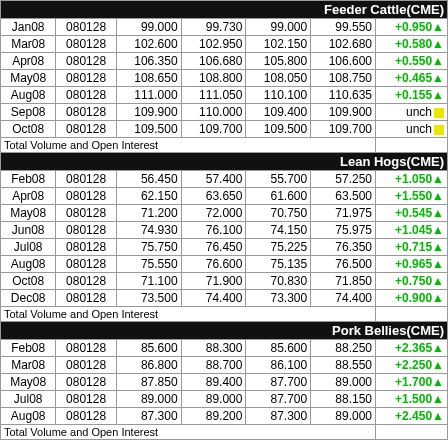Feeder Cattle(CME)
|  |  |  |  |  |  |  |
| --- | --- | --- | --- | --- | --- | --- |
| Jan08 | 080128 | 99.000 | 99.730 | 99.000 | 99.550 | +0.950▲ |
| Mar08 | 080128 | 102.600 | 102.950 | 102.150 | 102.680 | +0.580▲ |
| Apr08 | 080128 | 106.350 | 106.680 | 105.800 | 106.600 | +0.550▲ |
| May08 | 080128 | 108.650 | 108.800 | 108.050 | 108.750 | +0.465▲ |
| Aug08 | 080128 | 111.000 | 111.050 | 110.100 | 110.635 | +0.155▲ |
| Sep08 | 080128 | 109.900 | 110.000 | 109.400 | 109.900 | unch |
| Oct08 | 080128 | 109.500 | 109.700 | 109.500 | 109.700 | unch |
| Total Volume and Open Interest |  |  |  |  |  |  |
Lean Hogs(CME)
|  |  |  |  |  |  |  |
| --- | --- | --- | --- | --- | --- | --- |
| Feb08 | 080128 | 56.450 | 57.400 | 55.700 | 57.250 | +1.050▲ |
| Apr08 | 080128 | 62.150 | 63.650 | 61.600 | 63.500 | +1.550▲ |
| May08 | 080128 | 71.200 | 72.000 | 70.750 | 71.975 | +0.545▲ |
| Jun08 | 080128 | 74.930 | 76.100 | 74.150 | 75.975 | +1.045▲ |
| Jul08 | 080128 | 75.750 | 76.450 | 75.225 | 76.350 | +0.715▲ |
| Aug08 | 080128 | 75.550 | 76.600 | 75.135 | 76.500 | +0.965▲ |
| Oct08 | 080128 | 71.100 | 71.900 | 70.830 | 71.850 | +0.750▲ |
| Dec08 | 080128 | 73.500 | 74.400 | 73.300 | 74.400 | +0.900▲ |
| Total Volume and Open Interest |  |  |  |  |  |  |
Pork Bellies(CME)
|  |  |  |  |  |  |  |
| --- | --- | --- | --- | --- | --- | --- |
| Feb08 | 080128 | 85.600 | 88.300 | 85.600 | 88.250 | +2.365▲ |
| Mar08 | 080128 | 86.800 | 88.700 | 86.100 | 88.550 | +2.250▲ |
| May08 | 080128 | 87.850 | 89.400 | 87.700 | 89.000 | +1.700▲ |
| Jul08 | 080128 | 89.000 | 89.000 | 87.700 | 88.150 | +1.500▲ |
| Aug08 | 080128 | 87.300 | 89.200 | 87.300 | 89.000 | +2.450▲ |
| Total Volume and Open Interest |  |  |  |  |  |  |